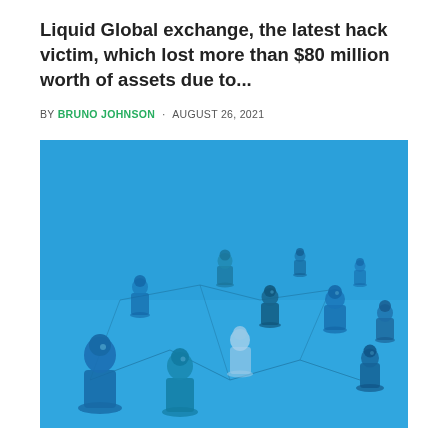Liquid Global exchange, the latest hack victim, which lost more than $80 million worth of assets due to...
BY BRUNO JOHNSON · AUGUST 26, 2021
[Figure (photo): Blue-tinted photo of multiple board game pawns of varying shades connected by lines on a white surface, suggesting a network or blockchain concept.]